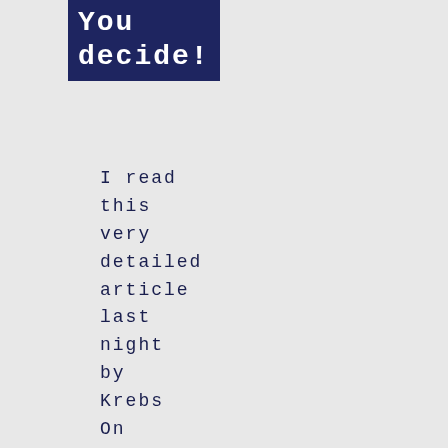You decide!
I read this very detailed article last night by Krebs On Security. Aparently, this company or shell companies, has been around